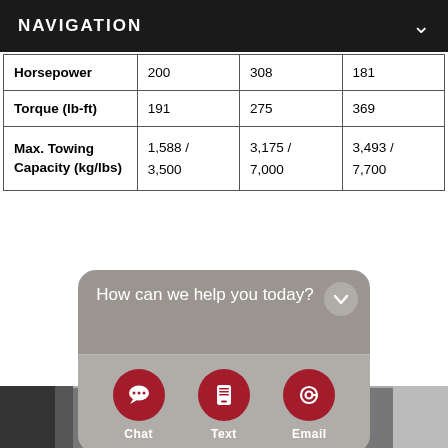NAVIGATION
|  | Col1 | Col2 | Col3 |
| --- | --- | --- | --- |
| Horsepower | 200 | 308 | 181 |
| Torque (lb-ft) | 191 | 275 | 369 |
| Max. Towing Capacity (kg/lbs) | 1,588 / 3,500 | 3,175 / 7,000 | 3,493 / 7,700 |
[Figure (screenshot): Chat widget with 'How can we help you today?' message and three action buttons: Chat, Text, Email with red circular icons.]
[Figure (photo): Partial view of a vehicle dashboard/interior at the bottom of the page.]